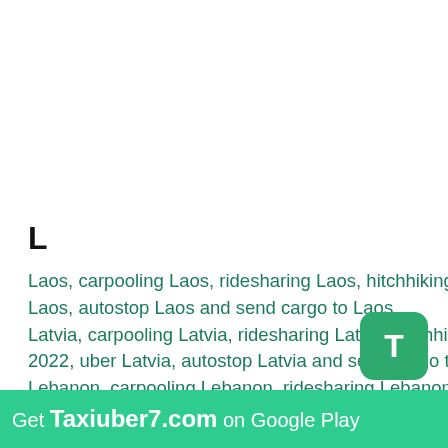L
Laos, carpooling Laos, ridesharing Laos, hitchhiking Laos, taxi Laos airport 2022, taxi Laos 2022, uber Laos, autostop Laos and send cargo to Laos
Latvia, carpooling Latvia, ridesharing Latvia, hitchhiking Latvia, taxi Latvia airport 2022, taxi Latvia 2022, uber Latvia, autostop Latvia and send cargo to Latvia
Lebanon, carpooling Lebanon, ridesharing Lebanon, hitchhiking Lebanon, taxi Lebanon airport 2022, taxi Lebanon 2022, uber Lebanon, autostop Lebanon and send cargo to Lebanon
Lesotho, carpooling Lesotho, ridesharing Lesotho,
Get Taxiuber7.com on Google Play